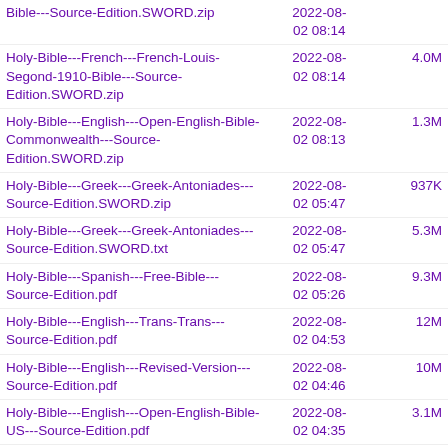| Name | Date | Size |
| --- | --- | --- |
| Bible---Source-Edition.SWORD.zip | 2022-08-02 08:14 |  |
| Holy-Bible---French---French-Louis-Segond-1910-Bible---Source-Edition.SWORD.zip | 2022-08-02 08:14 | 4.0M |
| Holy-Bible---English---Open-English-Bible-Commonwealth---Source-Edition.SWORD.zip | 2022-08-02 08:13 | 1.3M |
| Holy-Bible---Greek---Greek-Antoniades---Source-Edition.SWORD.zip | 2022-08-02 05:47 | 937K |
| Holy-Bible---Greek---Greek-Antoniades---Source-Edition.SWORD.txt | 2022-08-02 05:47 | 5.3M |
| Holy-Bible---Spanish---Free-Bible---Source-Edition.pdf | 2022-08-02 05:26 | 9.3M |
| Holy-Bible---English---Trans-Trans---Source-Edition.pdf | 2022-08-02 04:53 | 12M |
| Holy-Bible---English---Revised-Version---Source-Edition.pdf | 2022-08-02 04:46 | 10M |
| Holy-Bible---English---Open-English-Bible-US---Source-Edition.pdf | 2022-08-02 04:35 | 3.1M |
| Holy-Bible---Spanish---Free-Bible---Source-Edition.epub | 2022-08-02 04:24 | 2.1M |
| Holy-Bible---Spanish---Free-Bible---Source-Edition.VPL.txt | 2022-08-02 04:23 | 4.3M |
| Holy-Bible---English---Trans-Trans---Source-Edition.epub | 2022-08-02 04:12 | 2.4M |